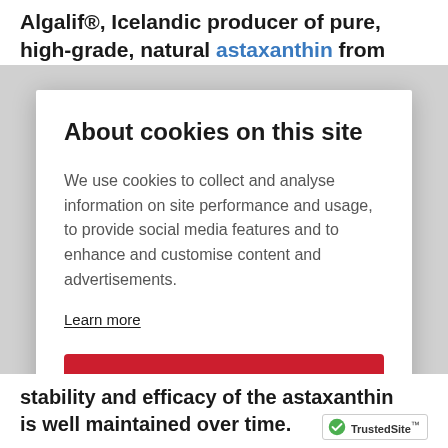Algalif®, Icelandic producer of pure, high-grade, natural astaxanthin from
About cookies on this site
We use cookies to collect and analyse information on site performance and usage, to provide social media features and to enhance and customise content and advertisements.
Learn more
ALLOW ALL COOKIES
COOKIE SETTINGS
stability and efficacy of the astaxanthin is well maintained over time.